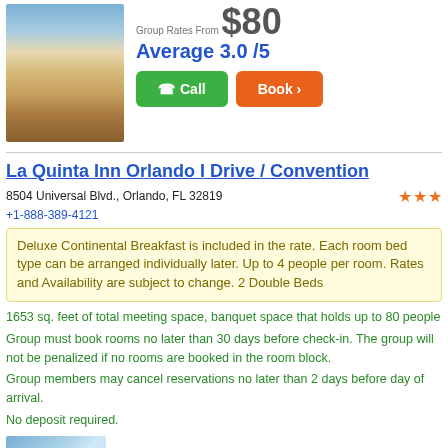[Figure (photo): Hotel exterior photo showing multi-story building with orange/tan facade and trees]
Group Rates From $80
Average 3.0 /5
Call
Book
La Quinta Inn Orlando I Drive / Convention
8504 Universal Blvd., Orlando, FL 32819
+1-888-389-4121
Deluxe Continental Breakfast is included in the rate. Each room bed type can be arranged individually later. Up to 4 people per room. Rates and Availability are subject to change. 2 Double Beds
1653 sq. feet of total meeting space, banquet space that holds up to 80 people
Group must book rooms no later than 30 days before check-in. The group will not be penalized if no rooms are booked in the room block.
Group members may cancel reservations no later than 2 days before day of arrival.
No deposit required.
[Figure (photo): Hotel exterior photo with blue sky background]
Group Rates From $80